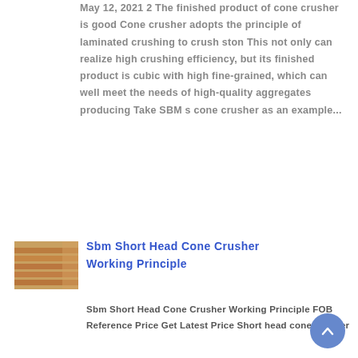May 12, 2021 2 The finished product of cone crusher is good Cone crusher adopts the principle of laminated crushing to crush ston This not only can realize high crushing efficiency, but its finished product is cubic with high fine-grained, which can well meet the needs of high-quality aggregates producing Take SBM s cone crusher as an example...
[Figure (photo): Thumbnail photo of industrial metal bars or crusher parts, orange/brown colored, stacked horizontally]
Sbm Short Head Cone Crusher Working Principle
Sbm Short Head Cone Crusher Working Principle FOB Reference Price Get Latest Price Short head cone crusher